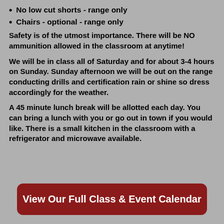No low cut shorts - range only
Chairs - optional - range only
Safety is of the utmost importance. There will be NO ammunition allowed in the classroom at anytime!
We will be in class all of Saturday and for about 3-4 hours on Sunday. Sunday afternoon we will be out on the range conducting drills and certification rain or shine so dress accordingly for the weather.
A 45 minute lunch break will be allotted each day. You can bring a lunch with you or go out in town if you would like. There is a small kitchen in the classroom with a refrigerator and microwave available.
View Our Full Class & Event Calendar